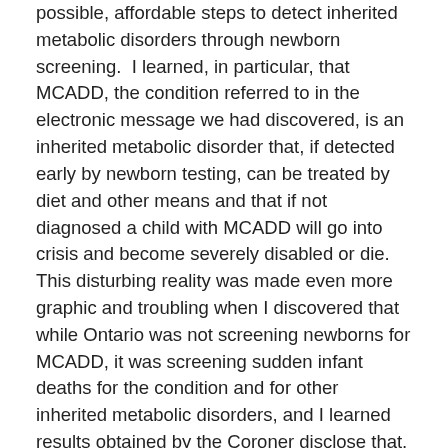possible, affordable steps to detect inherited metabolic disorders through newborn screening.  I learned, in particular, that MCADD, the condition referred to in the electronic message we had discovered, is an inherited metabolic disorder that, if detected early by newborn testing, can be treated by diet and other means and that if not diagnosed a child with MCADD will go into crisis and become severely disabled or die.  This disturbing reality was made even more graphic and troubling when I discovered that while Ontario was not screening newborns for MCADD, it was screening sudden infant deaths for the condition and for other inherited metabolic disorders, and I learned results obtained by the Coroner disclose that, in Ontario, even leaving aside other testable conditions, five deaths a year are related to the failure to detect MCADD alone.  Children were dying because Ontario could not or would not get its act together.
8  Given the critical nature of this issue I initiated an investigation on August 11, 2005 into the Ministry's apparent